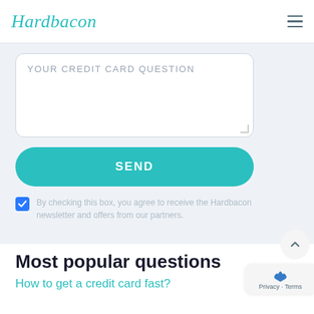Hardbacon
[Figure (screenshot): Text area form field with placeholder text YOUR CREDIT CARD QUESTION]
[Figure (screenshot): SEND button in teal/turquoise color]
By checking this box, you agree to receive the Hardbacon newsletter and offers from our partners.
Most popular questions
How to get a credit card fast?